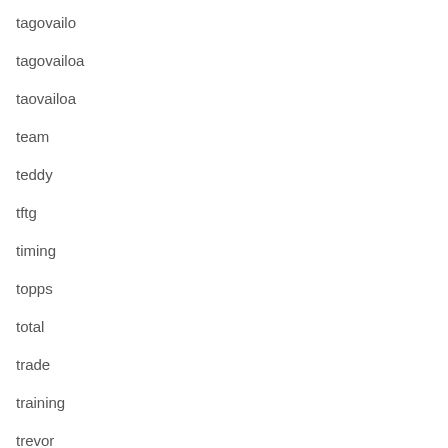tagovailo
tagovailoa
taovailoa
team
teddy
tftg
timing
topps
total
trade
training
trevor
tyreek